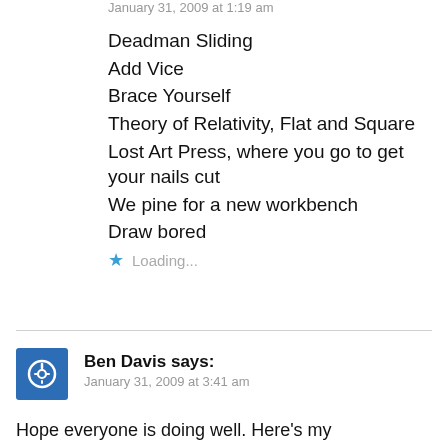January 31, 2009 at 1:19 am
Deadman Sliding
Add Vice
Brace Yourself
Theory of Relativity, Flat and Square
Lost Art Press, where you go to get your nails cut
We pine for a new workbench
Draw bored
★ Loading...
Ben Davis says:
January 31, 2009 at 3:41 am
Hope everyone is doing well. Here's my